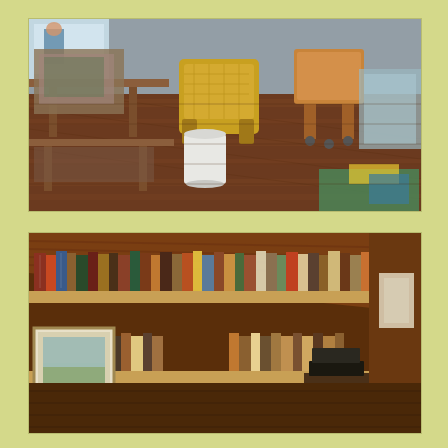[Figure (photo): Interior room with hardwood floors viewed from above. A yellow wicker chair and wooden office chair on casters are visible. A white bucket, wooden tables with papers and art supplies, and colorful items are scattered around the room. Natural light comes from windows.]
[Figure (photo): A wood-paneled attic or cabin room with slanted ceiling. Long wooden bookshelves are filled with many books of various sizes and colors. A framed landscape painting leans against the lower shelf. A dark wooden chest or box sits on the right side.]